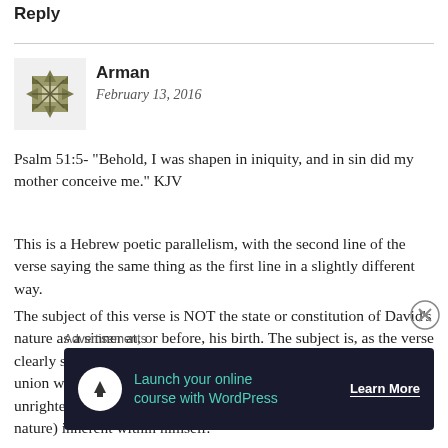Reply
Arman
February 13, 2016
Psalm 51:5- “Behold, I was shapen in iniquity, and in sin did my mother conceive me.” KJV
This is a Hebrew poetic parallelism, with the second line of the verse saying the same thing as the first line in a slightly different way.
The subject of this verse is NOT the state or constitution of David’s nature as a sinner at, or before, his birth. The subject is, as the verse clearly states, the ‘circumstances’ of his conception- the sexual union which produced him was an act of sin, and addresses the unrighteousness of his mother’s act, not anything (such as a sin nature) inherent within himself.
[Figure (other): Dark advertisement banner: Launch your online course with WordPress - Learn More]